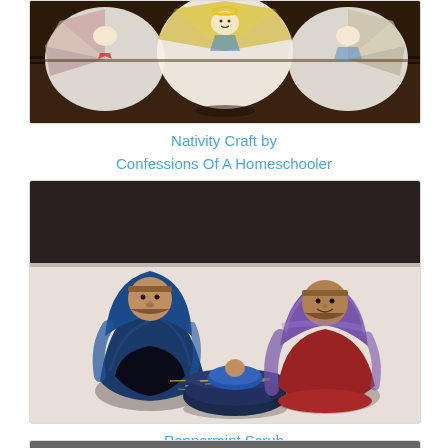[Figure (photo): Angel crafts made from paper plates with glitter decorations, laid on a dark wooden surface]
Nativity Craft by
Confessions Of A Homeschooler
[Figure (photo): Handmade nativity scene with clay pot figures of Mary and Joseph in blue and purple/red robes, with baby Jesus in a bowl with straw]
Peppermint Scrub
by No Time For Flashcards